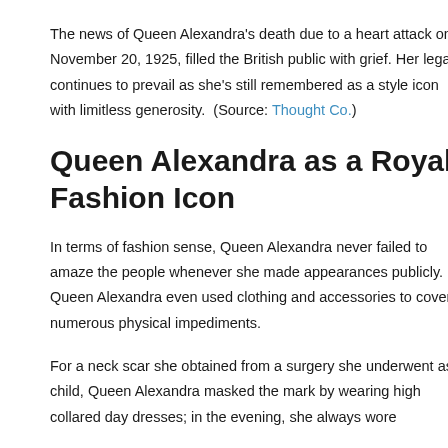The news of Queen Alexandra's death due to a heart attack on November 20, 1925, filled the British public with grief. Her legacy continues to prevail as she's still remembered as a style icon with limitless generosity.  (Source: Thought Co.)
Queen Alexandra as a Royal Fashion Icon
In terms of fashion sense, Queen Alexandra never failed to amaze the people whenever she made appearances publicly. Queen Alexandra even used clothing and accessories to cover numerous physical impediments.
For a neck scar she obtained from a surgery she underwent as a child, Queen Alexandra masked the mark by wearing high collared day dresses; in the evening, she always wore